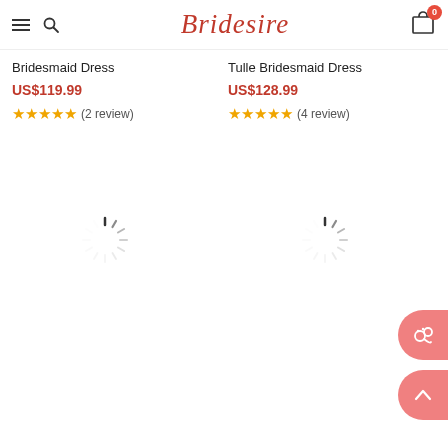[Figure (logo): Bridesire logo with hamburger menu and search icon on left, shopping cart with badge '0' on right]
Bridesmaid Dress
Tulle Bridesmaid Dress
US$119.99
US$128.99
★★★★★ (2 review)
★★★★★ (4 review)
[Figure (other): Loading spinner icon (left column)]
[Figure (other): Loading spinner icon (right column)]
[Figure (other): Floating chat button (salmon/pink circle on right side)]
[Figure (other): Floating scroll-to-top button (salmon/pink circle on right side with up arrow)]